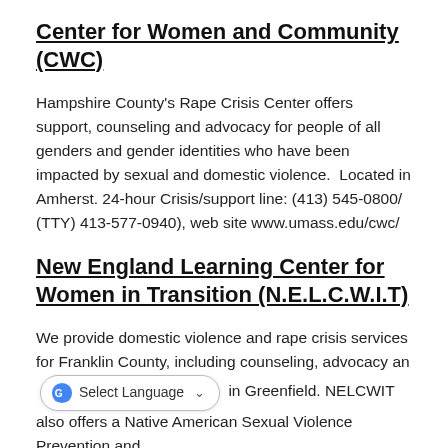Center for Women and Community (CWC)
Hampshire County's Rape Crisis Center offers support, counseling and advocacy for people of all genders and gender identities who have been impacted by sexual and domestic violence.  Located in Amherst. 24-hour Crisis/support line: (413) 545-0800/ (TTY) 413-577-0940), web site www.umass.edu/cwc/
New England Learning Center for Women in Transition (N.E.L.C.W.I.T)
We provide domestic violence and rape crisis services for Franklin County, including counseling, advocacy and [Select Language] in Greenfield. NELCWIT also offers a Native American Sexual Violence Prevention and